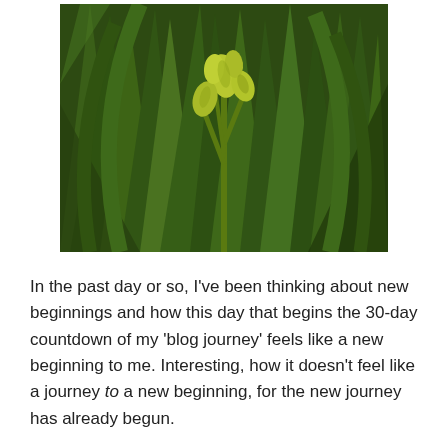[Figure (photo): Close-up photograph of yellow-green flower buds with dark green grass-like leaves in the background, appearing to be an orchid or similar plant with budding blooms.]
In the past day or so, I've been thinking about new beginnings and how this day that begins the 30-day countdown of my 'blog journey' feels like a new beginning to me. Interesting, how it doesn't feel like a journey to a new beginning, for the new journey has already begun.
This verse reminds me that God has been with me throughout this year of challenges and changes. The